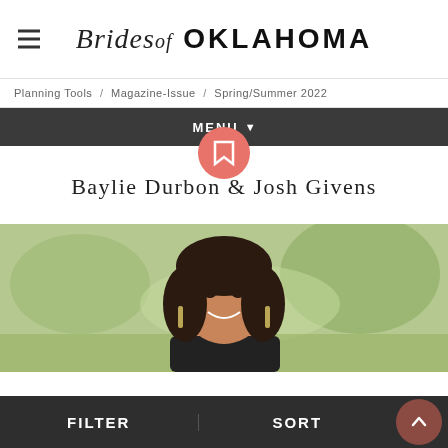Brides of OKLAHOMA
Planning Tools / Magazine-Issue / Spring/Summer 2022
MENU
Baylie Durbon & Josh Givens
[Figure (photo): Portrait photo of a smiling young woman with long dark wavy hair wearing statement earrings, outdoors with green blurred background]
FILTER   SORT